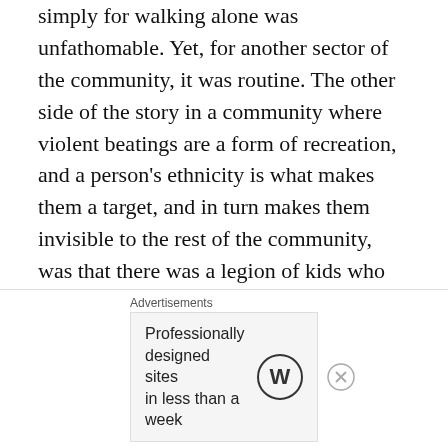simply for walking alone was unfathomable. Yet, for another sector of the community, it was routine. The other side of the story in a community where violent beatings are a form of recreation, and a person's ethnicity is what makes them a target, and in turn makes them invisible to the rest of the community, was that there was a legion of kids who were familiar with the attacks. Scores of boys who were on guard, who slipped into the bushes when a car approached, who ran like hell when they heard the sound of tires slowing down behind them because those kids knew it was the cops or the people who jumped Natives, and that both were dangerous. Kids who curled into a ball and protected their heads if they didn't run fast enough. If they had found the victim they meant to find
Advertisements
[Figure (other): WordPress advertisement banner: 'Professionally designed sites in less than a week' with WordPress logo]